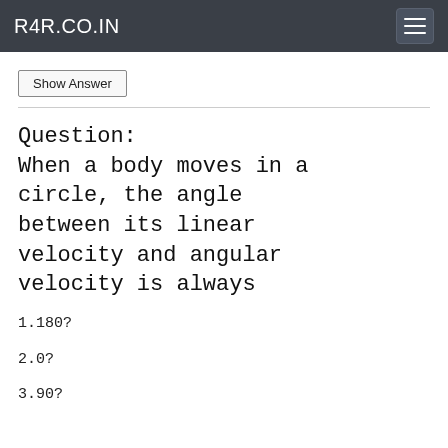R4R.CO.IN
Show Answer
Question:
When a body moves in a circle, the angle between its linear velocity and angular velocity is always
1.180?
2.0?
3.90?